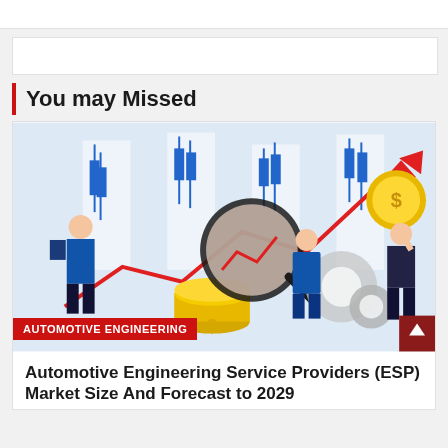You may Missed
[Figure (illustration): Market analysis illustration showing business people with magnifying glass over stock chart, gears, coins with dollar signs, and an upward trending red arrow. Blue candlestick chart in background.]
AUTOMOTIVE ENGINEERING
Automotive Engineering Service Providers (ESP) Market Size And Forecast to 2029